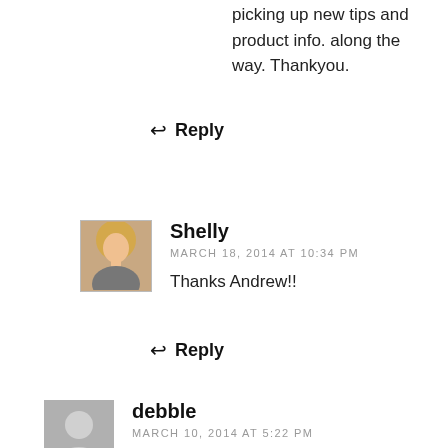picking up new tips and product info. along the way. Thankyou.
↩ Reply
Shelly
MARCH 18, 2014 AT 10:34 PM
Thanks Andrew!!
↩ Reply
debble
MARCH 10, 2014 AT 5:22 PM
I love it. It is so unique and the colors are great!!! I have gone crazy over peacock blue and I must